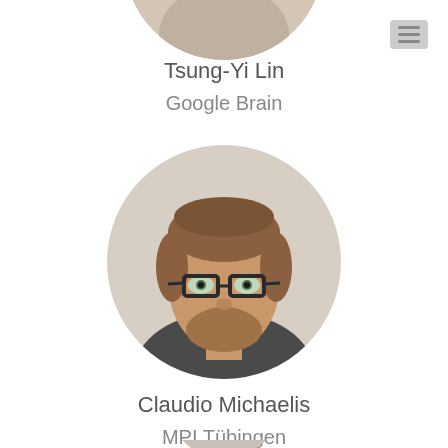[Figure (photo): Partial circular profile photo of Tsung-Yi Lin at top of page]
Tsung-Yi Lin
Google Brain
[Figure (photo): Circular profile photo of Claudio Michaelis, a man with glasses, light beard, and hair pulled back]
Claudio Michaelis
MPI Tübingen
[Figure (photo): Partial circular profile photo at bottom of page, mostly cropped]